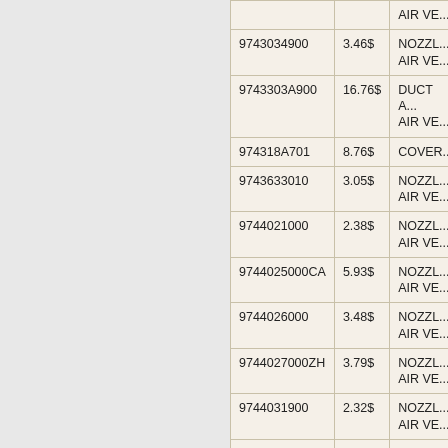| Part Number | Price | Description |
| --- | --- | --- |
| 9743034900 | 3.46$ | NOZZL... AIR VE... |
| 9743303A900 | 16.76$ | DUCT A... AIR VE... |
| 974318A701 | 8.76$ | COVER... |
| 9743633010 | 3.05$ | NOZZL... AIR VE... |
| 9744021000 | 2.38$ | NOZZL... AIR VE... |
| 9744025000CA | 5.93$ | NOZZL... AIR VE... |
| 9744026000 | 3.48$ | NOZZL... AIR VE... |
| 9744027000ZH | 3.79$ | NOZZL... AIR VE... |
| 9744031900 | 2.32$ | NOZZL... AIR VE... |
| 9744033900 | 9.08$ | DUCT A... VENT |
| 9744034900 | 3.46$ | NOZZL... AIR VE... |